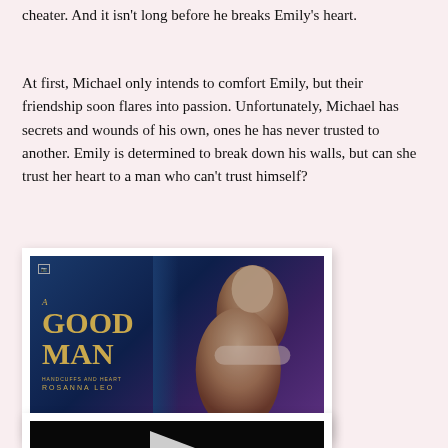cheater. And it isn't long before he breaks Emily's heart.
At first, Michael only intends to comfort Emily, but their friendship soon flares into passion. Unfortunately, Michael has secrets and wounds of his own, ones he has never trusted to another. Emily is determined to break down his walls, but can she trust her heart to a man who can't trust himself?
[Figure (photo): Book cover for 'A Good Man' by Rosanna Leo, showing a shirtless man in an intimate pose against a dark blue and purple background, with golden title text.]
[Figure (photo): Partial book cover or promotional image with dark/black background, partially visible at the bottom of the page.]